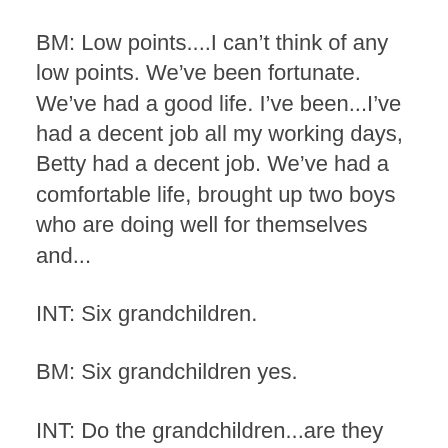BM: Low points....I can’t think of any low points. We’ve been fortunate. We’ve had a good life. I’ve been...I’ve had a decent job all my working days, Betty had a decent job. We’ve had a comfortable life, brought up two boys who are doing well for themselves and...
INT: Six grandchildren.
BM: Six grandchildren yes.
INT: Do the grandchildren...are they fascinated by this extra dimension in your life? Having a Congressman caption?